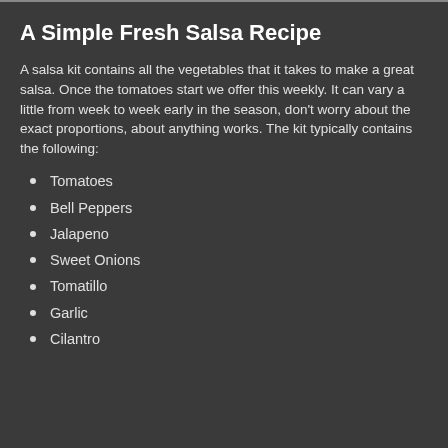A Simple Fresh Salsa Recipe
A salsa kit contains all the vegetables that it takes to make a great salsa. Once the tomatoes start we offer this weekly. It can vary a little from week to week early in the season, don't worry about the exact proportions, about anything works. The kit typically contains the following:
Tomatoes
Bell Peppers
Jalapeno
Sweet Onions
Tomatillo
Garlic
Cilantro